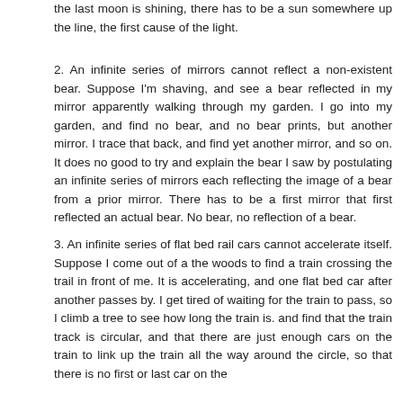the last moon is shining, there has to be a sun somewhere up the line, the first cause of the light.
2. An infinite series of mirrors cannot reflect a non-existent bear. Suppose I'm shaving, and see a bear reflected in my mirror apparently walking through my garden. I go into my garden, and find no bear, and no bear prints, but another mirror. I trace that back, and find yet another mirror, and so on. It does no good to try and explain the bear I saw by postulating an infinite series of mirrors each reflecting the image of a bear from a prior mirror. There has to be a first mirror that first reflected an actual bear. No bear, no reflection of a bear.
3. An infinite series of flat bed rail cars cannot accelerate itself. Suppose I come out of a the woods to find a train crossing the trail in front of me. It is accelerating, and one flat bed car after another passes by. I get tired of waiting for the train to pass, so I climb a tree to see how long the train is. and find that the train track is circular, and that there are just enough cars on the train to link up the train all the way around the circle, so that there is no first or last car on the